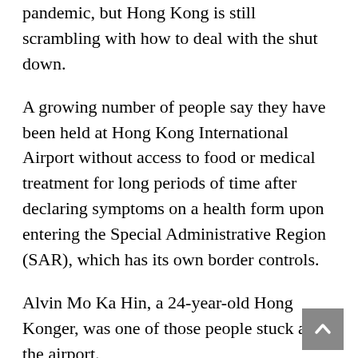pandemic, but Hong Kong is still scrambling with how to deal with the shut down.
A growing number of people say they have been held at Hong Kong International Airport without access to food or medical treatment for long periods of time after declaring symptoms on a health form upon entering the Special Administrative Region (SAR), which has its own border controls.
Alvin Mo Ka Hin, a 24-year-old Hong Konger, was one of those people stuck at the airport.
The first year communications student at Thomas More University of Applied Sciences was returning to the country from Belgium (transiting in Bangkok) when he was held at the airport.